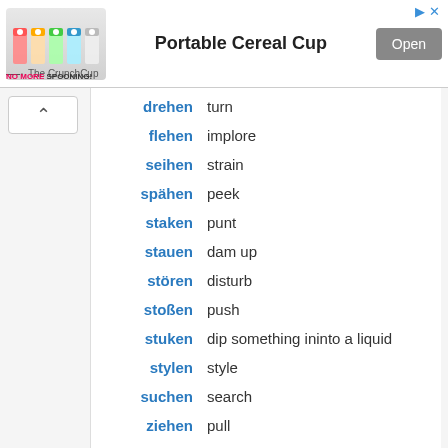[Figure (other): Advertisement banner for Portable Cereal Cup (The CrunchCup) with colorful cup images, Open button, and NO MORE SPOONING! tagline]
drehen — turn
flehen — implore
seihen — strain
spähen — peek
staken — punt
stauen — dam up
stören — disturb
stoßen — push
stuken — dip something ininto a liquid
stylen — style
suchen — search
ziehen — pull